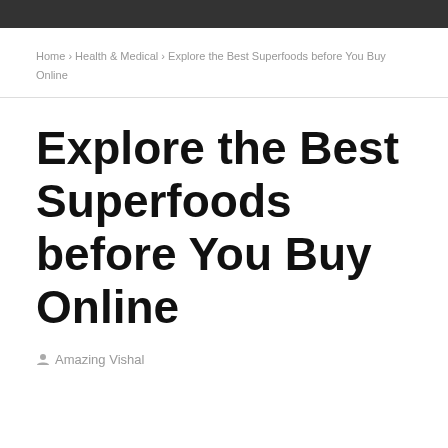Home › Health & Medical › Explore the Best Superfoods before You Buy Online
Explore the Best Superfoods before You Buy Online
Amazing Vishal